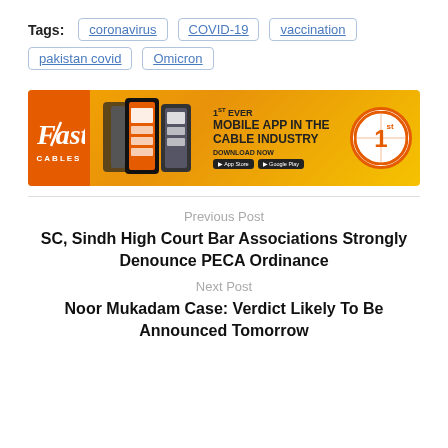Tags: coronavirus   COVID-19   vaccination   pakistan covid   Omicron
[Figure (other): Fast Cables advertisement banner showing mobile app promotion: '1st EVER MOBILE APP IN THE CABLE INDUSTRY DOWNLOAD NOW' with phone images and app store buttons]
Previous Post
SC, Sindh High Court Bar Associations Strongly Denounce PECA Ordinance
Next Post
Noor Mukadam Case: Verdict Likely To Be Announced Tomorrow